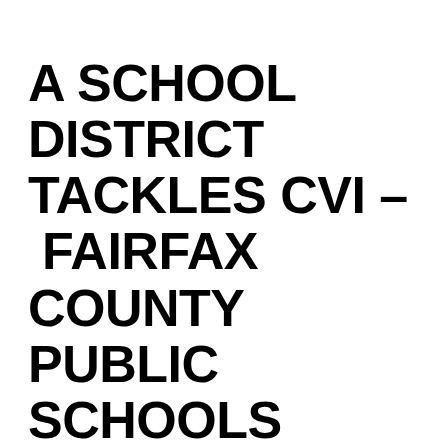A SCHOOL DISTRICT TACKLES CVI – FAIRFAX COUNTY PUBLIC SCHOOLS